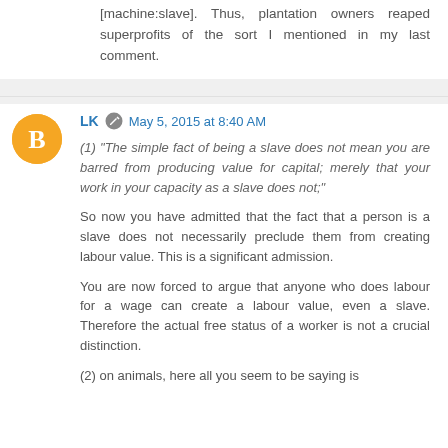[machine:slave]. Thus, plantation owners reaped superprofits of the sort I mentioned in my last comment.
LK  May 5, 2015 at 8:40 AM
(1) "The simple fact of being a slave does not mean you are barred from producing value for capital; merely that your work in your capacity as a slave does not;"

So now you have admitted that the fact that a person is a slave does not necessarily preclude them from creating labour value. This is a significant admission.

You are now forced to argue that anyone who does labour for a wage can create a labour value, even a slave. Therefore the actual free status of a worker is not a crucial distinction.

(2) on animals, here all you seem to be saying is